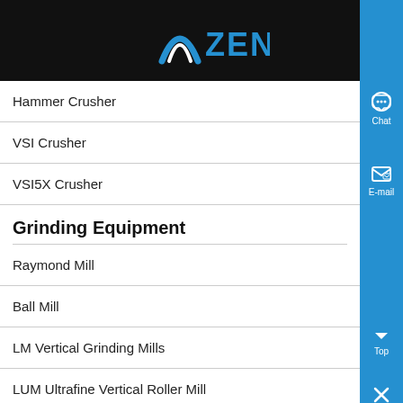ZENIT
Hammer Crusher
VSI Crusher
VSI5X Crusher
Grinding Equipment
Raymond Mill
Ball Mill
LM Vertical Grinding Mills
LUM Ultrafine Vertical Roller Mill
MTM Trapezium Grinder
MTW Milling Machine